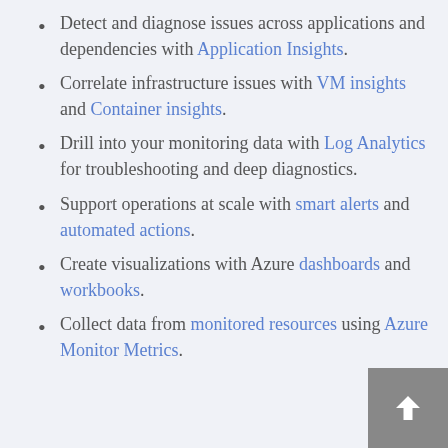Detect and diagnose issues across applications and dependencies with Application Insights.
Correlate infrastructure issues with VM insights and Container insights.
Drill into your monitoring data with Log Analytics for troubleshooting and deep diagnostics.
Support operations at scale with smart alerts and automated actions.
Create visualizations with Azure dashboards and workbooks.
Collect data from monitored resources using Azure Monitor Metrics.